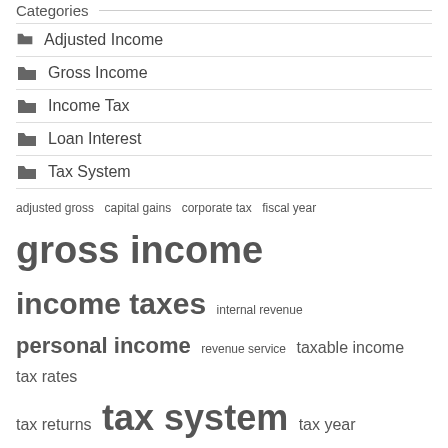Categories
Adjusted Income
Gross Income
Income Tax
Loan Interest
Tax System
adjusted gross  capital gains  corporate tax  fiscal year  gross income  income taxes  internal revenue  personal income  revenue service  taxable income  tax rates  tax returns  tax system  tax year  united states
Recent Posts
Payday Loans Online Same-Day Deposit!
The Center plans to reduce tax rates in the new income tax system